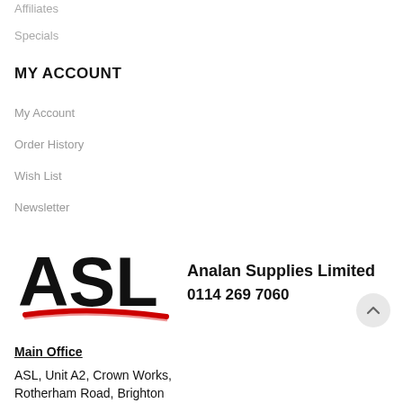Affiliates
Specials
MY ACCOUNT
My Account
Order History
Wish List
Newsletter
[Figure (logo): ASL (Analan Supplies Limited) logo with bold black letters ASL and a red swoosh underline, company name and phone number 0114 269 7060]
Main Office
ASL, Unit A2, Crown Works,
Rotherham Road, Brighton